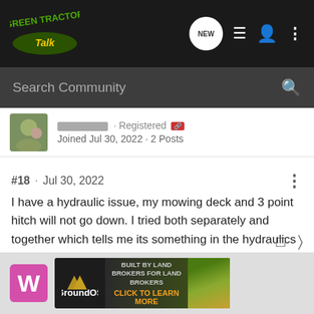[Figure (screenshot): Green Tractor Talk forum website navigation bar with logo, NEW button, list icon, user icon, and three-dot menu]
Search Community
Joined Jul 30, 2022 · 2 Posts
#18 · Jul 30, 2022
I have a hydraulic issue, my mowing deck and 3 point hitch will not go down. I tried both separately and together which tells me its something in the hydraulics for the rear. My bucket loader works fine. Any ideas out there.
[Figure (screenshot): Bottom bar showing W avatar and GroundOS advertisement banner saying BUILT BY LAND BROKERS FOR LAND BROKERS CLICK TO LEARN MORE]